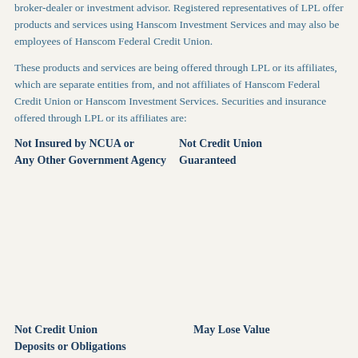broker-dealer or investment advisor. Registered representatives of LPL offer products and services using Hanscom Investment Services and may also be employees of Hanscom Federal Credit Union.
These products and services are being offered through LPL or its affiliates, which are separate entities from, and not affiliates of Hanscom Federal Credit Union or Hanscom Investment Services. Securities and insurance offered through LPL or its affiliates are:
Not Insured by NCUA or Any Other Government Agency
Not Credit Union Guaranteed
Not Credit Union Deposits or Obligations
May Lose Value